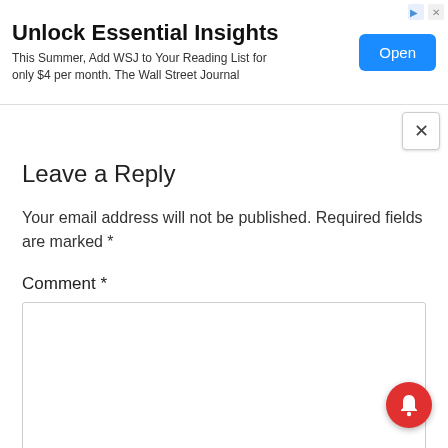[Figure (other): Advertisement banner for The Wall Street Journal with title 'Unlock Essential Insights', subtitle text, and an Open button]
Unlock Essential Insights
This Summer, Add WSJ to Your Reading List for only $4 per month. The Wall Street Journal
Leave a Reply
Your email address will not be published. Required fields are marked *
Comment *